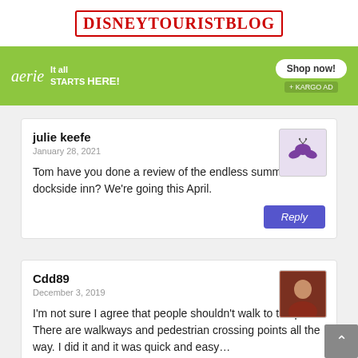DISNEYTOURISTBLOG
[Figure (infographic): Aerie brand advertisement banner with green background, italic aerie logo, tagline 'It all STARTS HERE!' and 'Shop now!' button]
julie keefe
January 28, 2021
Tom have you done a review of the endless summer dockside inn? We're going this April.
Cdd89
December 3, 2019
I'm not sure I agree that people shouldn't walk to the parks. There are walkways and pedestrian crossing points all the way. I did it and it was quick and easy…